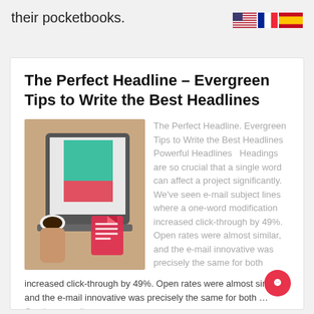their pocketbooks.
[Figure (illustration): Three country flag icons: USA, France, Spain]
The Perfect Headline – Evergreen Tips to Write the Best Headlines
[Figure (photo): Person holding coffee cup next to a laptop with colorful rectangles on screen, with a document/copy icon overlay]
The Perfect Headline. Evergreen Tips to Write the Best Headlines   Powerful Headlines   Headings are so crucial that a single word can affect a project significantly. We've seen e-mail subject lines where a one-word modification increased click-through by 49%. Open rates were almost similar, and the e-mail innovative was precisely the same for both … Continue reading